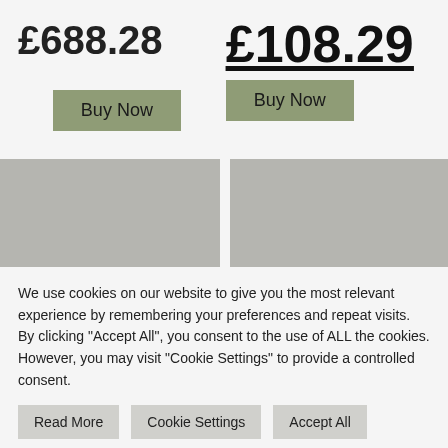£688.28
£108.29
Buy Now
Buy Now
[Figure (other): Grey image placeholder left]
[Figure (other): Grey image placeholder right]
We use cookies on our website to give you the most relevant experience by remembering your preferences and repeat visits. By clicking "Accept All", you consent to the use of ALL the cookies. However, you may visit "Cookie Settings" to provide a controlled consent.
Read More
Cookie Settings
Accept All